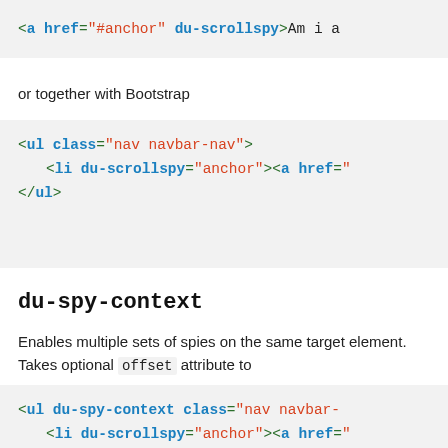[Figure (screenshot): Code block showing: <a href="#anchor" du-scrollspy>Am i a]
or together with Bootstrap
[Figure (screenshot): Code block showing: <ul class="nav navbar-nav">
  <li du-scrollspy="anchor"><a href=""
</ul>]
du-spy-context
Enables multiple sets of spies on the same target element. Takes optional offset attribute to
[Figure (screenshot): Code block showing: <ul du-spy-context class="nav navbar-
  <li du-scrollspy="anchor"><a href=""
</ul>]